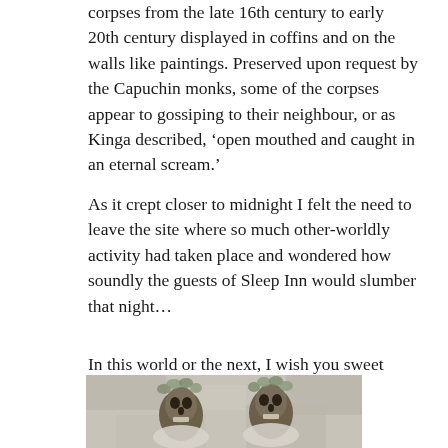corpses from the late 16th century to early 20th century displayed in coffins and on the walls like paintings. Preserved upon request by the Capuchin monks, some of the corpses appear to gossiping to their neighbour, or as Kinga described, ‘open mouthed and caught in an eternal scream.’
As it crept closer to midnight I felt the need to leave the site where so much other-worldly activity had taken place and wondered how soundly the guests of Sleep Inn would slumber that night…
In this world or the next, I wish you sweet dreams, sleep tight.
[Figure (photo): Photograph showing two skeletal/mummified figures decorated with floral crowns and draped in cloth, displayed against a pale stone or plaster wall background.]